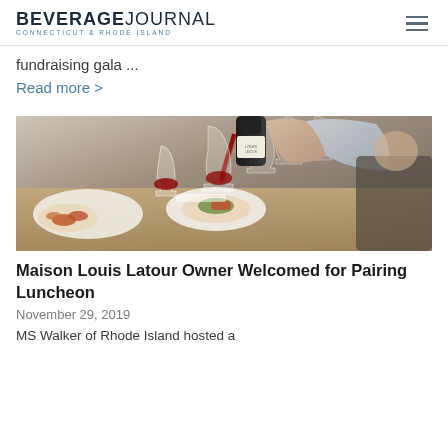BEVERAGE JOURNAL CONNECTICUT & RHODE ISLAND
fundraising gala ...
Read more >
[Figure (photo): A hand pouring red wine from a dark bottle into glasses at a dining table with food dishes visible]
Maison Louis Latour Owner Welcomed for Pairing Luncheon
November 29, 2019
MS Walker of Rhode Island hosted a